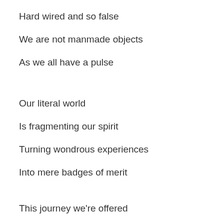Hard wired and so false
We are not manmade objects
As we all have a pulse
Our literal world
Is fragmenting our spirit
Turning wondrous experiences
Into mere badges of merit
This journey we're offered